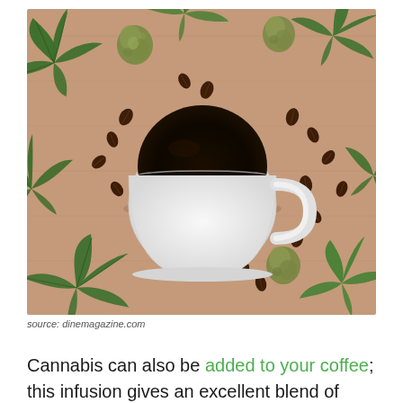[Figure (photo): Overhead flat-lay photo of a white ceramic coffee cup filled with black coffee, surrounded by cannabis leaves, coffee beans, and cannabis buds on a wood surface.]
source: dinemagazine.com
Cannabis can also be added to your coffee; this infusion gives an excellent blend of THC and caffeine. Caffeine helps